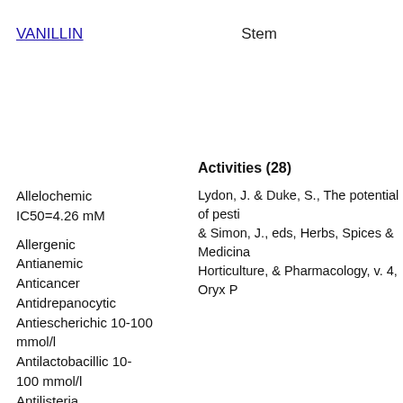VANILLIN   Stem   --   --
Activities (28)
Lydon, J. & Duke, S., The potential of pesti & Simon, J., eds, Herbs, Spices & Medicina Horticulture, & Pharmacology, v. 4, Oryx P
Allelochemic IC50=4.26 mM
Allergenic
Antianemic
Anticancer
Antidrepanocytic
Antiescherichic 10-100 mmol/l
Antilactobacillic 10-100 mmol/l
Antilisteria